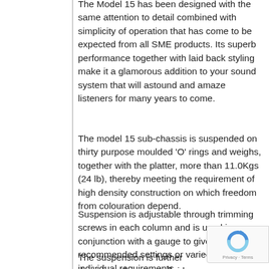The Model 15 has been designed with the same attention to detail combined with simplicity of operation that has come to be expected from all SME products. Its superb performance together with laid back styling make it a glamorous addition to your sound system that will astound and amaze listeners for many years to come.
The model 15 sub-chassis is suspended on thirty purpose moulded 'O' rings and weighs, together with the platter, more than 11.0Kgs (24 lb), thereby meeting the requirement of high density construction on which freedom from colouration depend.
Suspension is adjustable through trimming screws in each column and is used in conjunction with a gauge to give recommended settings or varied to suit individual requirements.
The suspension is further disciplined by a central fluid damper which controls the sub-chassis motion, offers a resistive ground path for acoustic signals, eliminates overshoot and gives